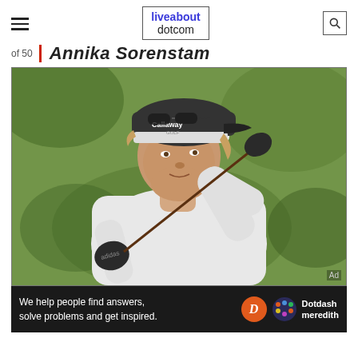liveabout dotcom
of 50
Annika Sorenstam
[Figure (photo): Female golfer (Annika Sorenstam) wearing a Callaway Golf cap and sunglasses, swinging a golf club, with a green blurred background]
Ad
We help people find answers, solve problems and get inspired. Dotdash meredith